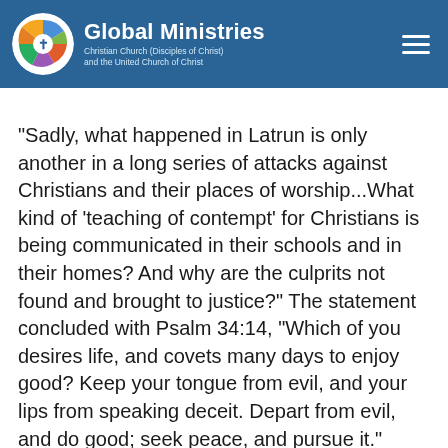Global Ministries — Christian Church (Disciples of Christ) and the United Church of Christ
“Sadly, what happened in Latrun is only another in a long series of attacks against Christians and their places of worship…What kind of ‘teaching of contempt’ for Christians is being communicated in their schools and in their homes? And why are the culprits not found and brought to justice?” The statement concluded with Psalm 34:14, “Which of you desires life, and covets many days to enjoy good? Keep your tongue from evil, and your lips from speaking deceit. Depart from evil, and do good; seek peace, and pursue it.”